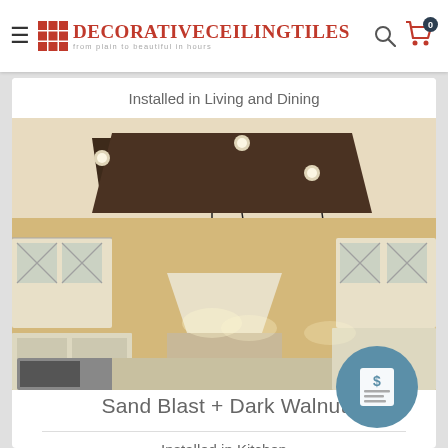DecorativeCeilingTiles — from plain to beautiful in hours
Installed in Living and Dining
[Figure (photo): Kitchen interior with exposed dark wood ceiling beams and three hanging black pendant lights over an island. White cabinetry with glass-front upper cabinets, stainless appliances, and a large range hood.]
Sand Blast + Dark Walnut
Installed in Kitchen